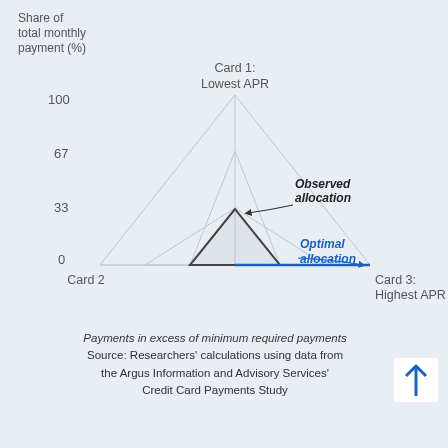[Figure (radar-chart): Radar/spider chart with 3 axes: Card 1 (Lowest APR), Card 2, Card 3 (Highest APR). Scale 0-100 with gridlines at 0, 33, 67, 100. Observed allocation shown in dark gray triangle near center-top. Optimal allocation shown in blue, heavily weighted toward Card 3.]
Payments in excess of minimum required payments
Source: Researchers' calculations using data from the Argus Information and Advisory Services' Credit Card Payments Study